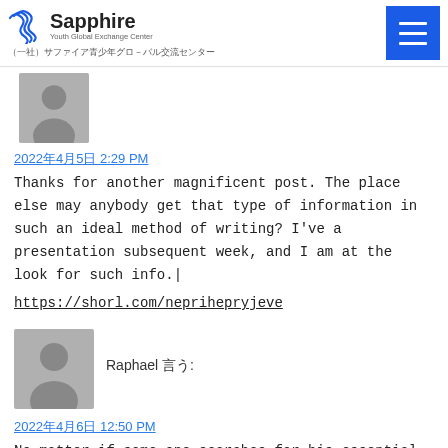Sapphire Youth Global Exchange Center （一社）サファイア青少年グローバル交流センター
[Figure (illustration): Gray avatar/person silhouette placeholder image, top comment]
2022年4月5日 2:29 PM
Thanks for another magnificent post. The place else may anybody get that type of information in such an ideal method of writing? I've a presentation subsequent week, and I am at the look for such info.|
https://shorl.com/neprihepryjeve
[Figure (photo): Gray avatar/person silhouette placeholder image for Raphael comment]
Raphael 言う:
2022年4月6日 12:50 PM
No matter if some one searches for his essential thing,
thus he/she needs to be available that in detail, thus